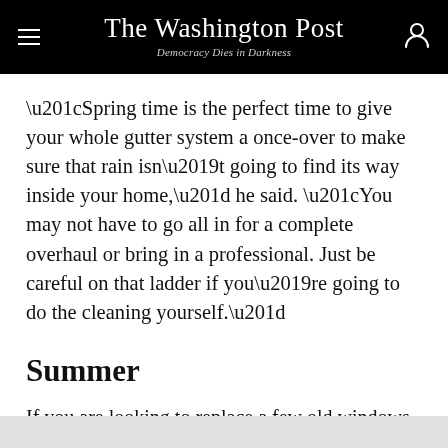The Washington Post — Democracy Dies in Darkness
“Spring time is the perfect time to give your whole gutter system a once-over to make sure that rain isn’t going to find its way inside your home,” he said. “You may not have to go all in for a complete overhaul or bring in a professional. Just be careful on that ladder if you’re going to do the cleaning yourself.”
Summer
If you are looking to replace a few old windows,